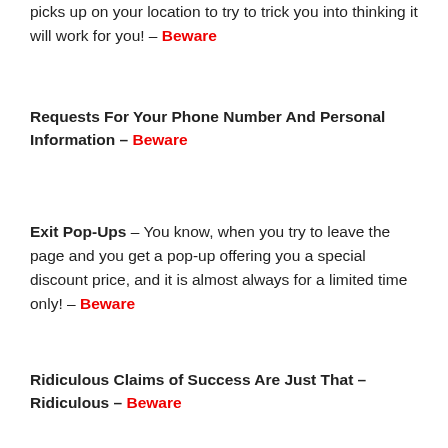picks up on your location to try to trick you into thinking it will work for you! – Beware
Requests For Your Phone Number And Personal Information – Beware
Exit Pop-Ups – You know, when you try to leave the page and you get a pop-up offering you a special discount price, and it is almost always for a limited time only! – Beware
Ridiculous Claims of Success Are Just That – Ridiculous – Beware